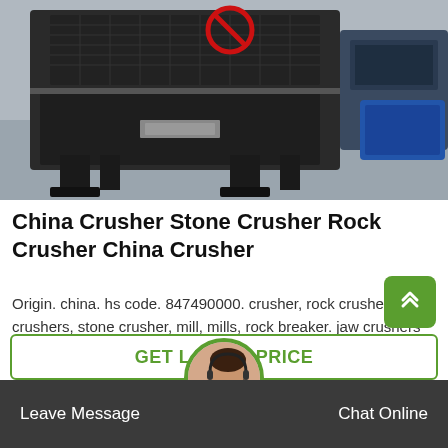[Figure (photo): Large industrial rock/stone crusher machine in a factory setting, dark grey metal machinery on a concrete floor, with blue storage bins visible in the background]
China Crusher Stone Crusher Rock Crusher China Crusher
Origin. china. hs code. 847490000. crusher, rock crusher, crushers, stone crusher, mill, mills, rock breaker. jaw crushers are based on years of product development. the continuous improvement and refine...
GET LATEST PRICE
Leave Message
Chat Online